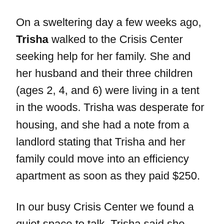On a sweltering day a few weeks ago, Trisha walked to the Crisis Center seeking help for her family. She and her husband and their three children (ages 2, 4, and 6) were living in a tent in the woods. Trisha was desperate for housing, and she had a note from a landlord stating that Trisha and her family could move into an efficiency apartment as soon as they paid $250.
In our busy Crisis Center we found a quiet space to talk. Trisha said she works at a fast food restaurant; at times, she has held jobs at two of them, trying hard to support her family. Her husband has had cancer for more than a year. He